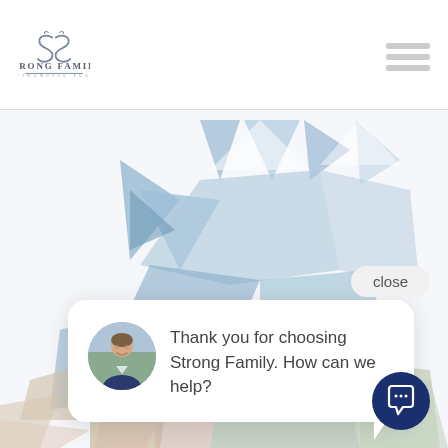[Figure (logo): Strong Family Financial LLC logo with decorative script initials and company name]
[Figure (illustration): Abstract geometric star/snowflake pattern made of triangles and polygons in muted blue, beige, sage, and peach tones as a decorative background]
close
Thank you for choosing Strong Family. How can we help?